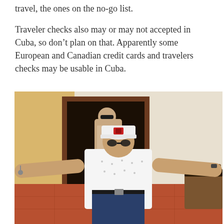travel, the ones on the no-go list.

Traveler checks also may or may not accepted in Cuba, so don't plan on that. Apparently some European and Canadian credit cards and travelers checks may be usable in Cuba.
[Figure (photo): A man wearing a white cap and white patterned polo shirt stands with arms outstretched inside what appears to be a Cuban building with terracotta floors and a yellow wall. Another tourist visible in the background doorway.]